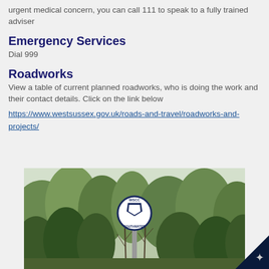urgent medical concern, you can call 111 to speak to a fully trained adviser
Emergency Services
Dial 999
Roadworks
View a table of current planned roadworks, who is doing the work and their contact details. Click on the link below
https://www.westsussex.gov.uk/roads-and-travel/roadworks-and-projects/
[Figure (photo): A road sign post with a circular WSCC Southwater sign mounted on a pole, surrounded by trees in the background]